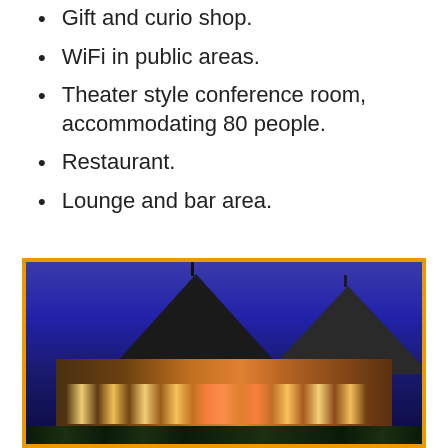Gift and curio shop.
WiFi in public areas.
Theater style conference room, accommodating 80 people.
Restaurant.
Lounge and bar area.
[Figure (photo): Illuminated lodge or hotel building at dusk with two conical thatched roofs, glowing warm amber and orange lights inside, deep blue twilight sky in background, surrounded by dark trees and landscaping.]